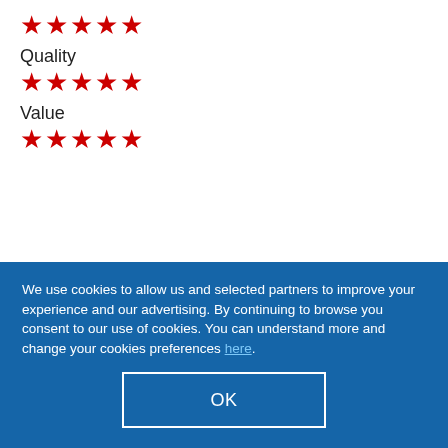[Figure (other): Five red star rating icons (first row, top)]
Quality
[Figure (other): Five red star rating icons for Quality]
Value
[Figure (other): Five red star rating icons for Value]
Rock Solid, dependable and
We use cookies to allow us and selected partners to improve your experience and our advertising. By continuing to browse you consent to our use of cookies. You can understand more and change your cookies preferences here.
OK